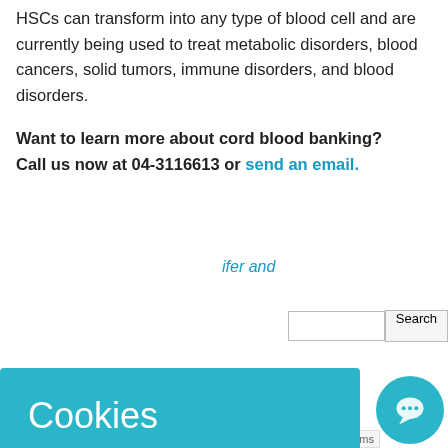HSCs can transform into any type of blood cell and are currently being used to treat metabolic disorders, blood cancers, solid tumors, immune disorders, and blood disorders.
Want to learn more about cord blood banking? Call us now at 04-3116613 or send an email.
ifer and
[Figure (screenshot): Cookie consent popup overlay with teal background. Title 'Cookies' in large white text. Body text: 'This website uses cookies to ensure you get the best experience on our website: READ MORE.' with a 'GOT IT!' button.]
Blood Sample if I Bank it Privately?